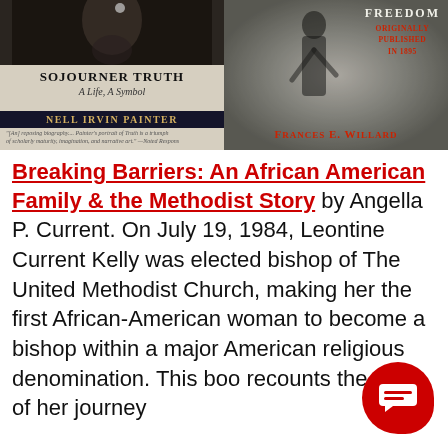[Figure (photo): Two book covers side by side. Left: 'Sojourner Truth: A Life, A Symbol' by Nell Irvin Painter with dark background and figure silhouette. Right: A book by Frances E. Willard with text 'Freedom', 'Originally Published in 1895' and dark grainy background with silhouette.]
Breaking Barriers: An African American Family & the Methodist Story by Angella P. Current. On July 19, 1984, Leontine Current Kelly was elected bishop of The United Methodist Church, making her the first African-American woman to become a bishop within a major American religious denomination. This book recounts the story of her journey